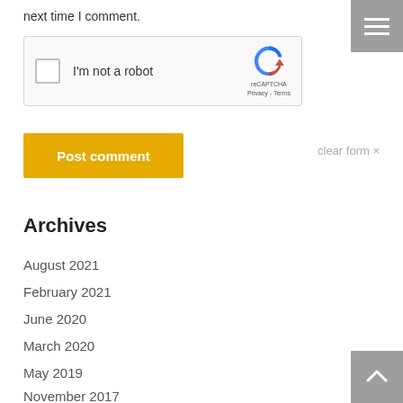next time I comment.
[Figure (other): reCAPTCHA widget with checkbox labeled 'I'm not a robot' and reCAPTCHA logo with Privacy - Terms links]
Post comment
clear form ×
Archives
August 2021
February 2021
June 2020
March 2020
May 2019
November 2017